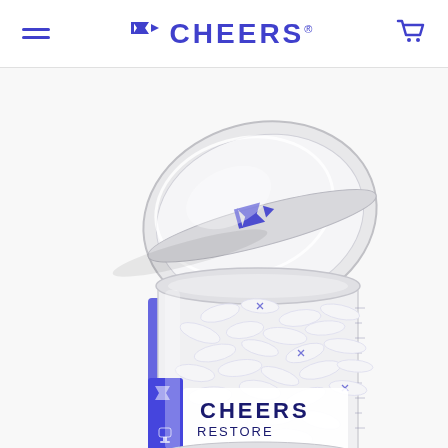CHEERS (navigation header with hamburger menu and cart icon)
[Figure (photo): A clear glass jar of Cheers Restore supplement capsules shown open with the lid lifted, revealing white capsules inside. The jar label shows the Cheers logo and RESTORE product name in blue. The lid has a blue Cheers logo stamp on it.]